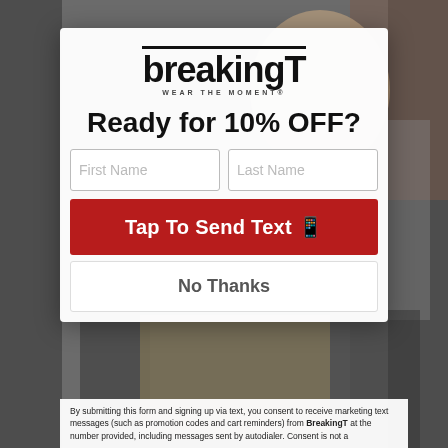[Figure (screenshot): Background photo of a person in a grey shirt against a brick wall, with a sports-themed notebook visible in lower portion]
breakingT WEAR THE MOMENT®
Ready for 10% OFF?
First Name | Last Name (form inputs)
Tap To Send Text 📱
No Thanks
By submitting this form and signing up via text, you consent to receive marketing text messages (such as promotion codes and cart reminders) from BreakingT at the number provided, including messages sent by autodialer. Consent is not a